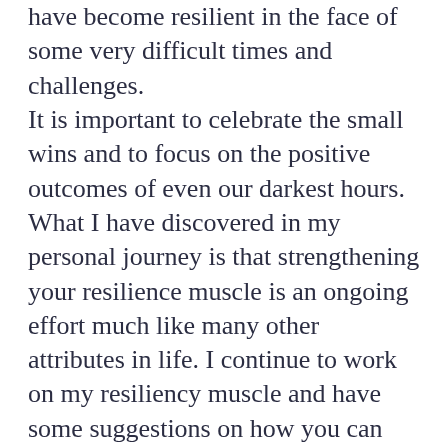have become resilient in the face of some very difficult times and challenges. It is important to celebrate the small wins and to focus on the positive outcomes of even our darkest hours. What I have discovered in my personal journey is that strengthening your resilience muscle is an ongoing effort much like many other attributes in life. I continue to work on my resiliency muscle and have some suggestions on how you can too. When faced with challenges, an individual will either act with resilience or fragility. The main difference between people that are resilient and ones that are fragile is information and inspiration. This musing will review what each of these means, and the importance of choosing